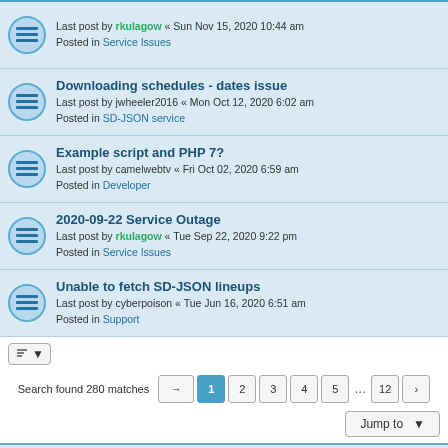Downloading schedules - dates issue | Last post by jwheeler2016 « Mon Oct 12, 2020 6:02 am | Posted in SD-JSON service
Example script and PHP 7? | Last post by camelwebtv « Fri Oct 02, 2020 6:59 am | Posted in Developer
2020-09-22 Service Outage | Last post by rkulagow « Tue Sep 22, 2020 9:22 pm | Posted in Service Issues
Unable to fetch SD-JSON lineups | Last post by cyberpoison « Tue Jun 16, 2020 6:51 am | Posted in Support
Search found 280 matches
Jump to
Board index | Contact us | Delete cookies | All times are UTC-07:00
Powered by phpBB® Forum Software © phpBB Limited
Privacy | Terms